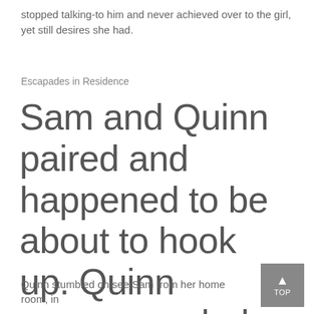stopped talking-to him and never achieved over to the girl, yet still desires she had.
Escapades in Residence
Sam and Quinn paired and happened to be about to hook up. Quinn recommended they go on an adventure — and Sam ended up being game.
Quinn stumbled on see Sam from her home room, in